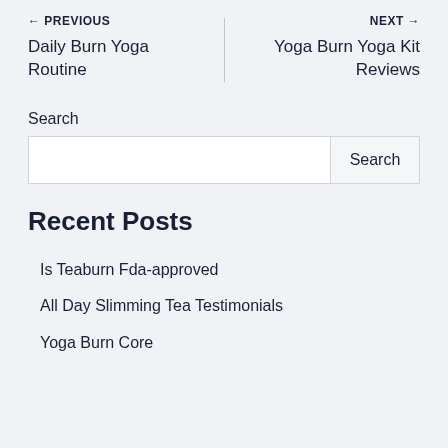← PREVIOUS | NEXT →
Daily Burn Yoga Routine
Yoga Burn Yoga Kit Reviews
Search
Recent Posts
Is Teaburn Fda-approved
All Day Slimming Tea Testimonials
Yoga Burn Core